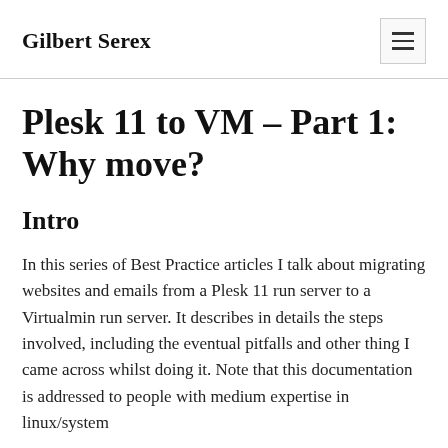Gilbert Serex
Plesk 11 to VM – Part 1: Why move?
Intro
In this series of Best Practice articles I talk about migrating websites and emails from a Plesk 11 run server to a Virtualmin run server. It describes in details the steps involved, including the eventual pitfalls and other thing I came across whilst doing it. Note that this documentation is addressed to people with medium expertise in linux/system